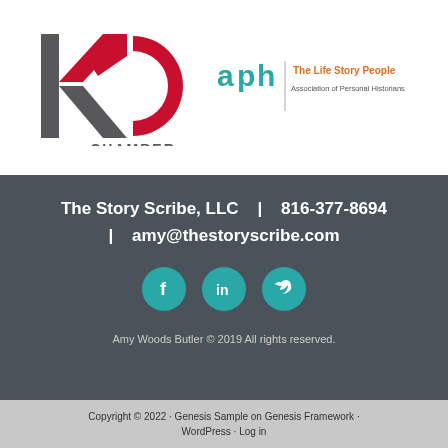[Figure (logo): KC Chamber logo - red and grey geometric K and C with 'CHAMBER' text]
[Figure (logo): APH - The Life Story People, Association of Personal Historians logo with teal and orange text]
The Story Scribe, LLC   |   816-377-8694  |   amy@thestoryscribe.com
[Figure (illustration): Social media icons: Facebook, LinkedIn, Twitter in teal circles]
Amy Woods Butler © 2019 All rights reserved.
Copyright © 2022 · Genesis Sample on Genesis Framework · WordPress · Log in